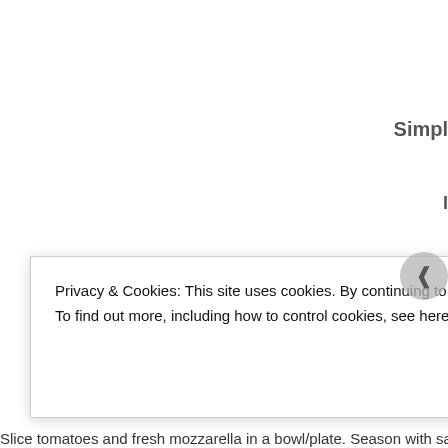Simpl
I
Tomatoes, Fresh mozzarella, Bas
Slice tomatoes and fresh mozzarella in a bowl/plate. Season with salt and pe
[Figure (photo): Food photo showing textured food item, likely caprese salad with mozzarella, warm tones]
Privacy & Cookies: This site uses cookies. By continuing to use this website, you agree to their use.
To find out more, including how to control cookies, see here: Cookie Policy
Close and accept